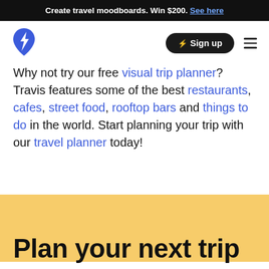Create travel moodboards. Win $200. See here
[Figure (logo): Travis travel app logo — blue lightning bolt / map pin icon]
Why not try our free visual trip planner? Travis features some of the best restaurants, cafes, street food, rooftop bars and things to do in the world. Start planning your trip with our travel planner today!
Plan your next trip